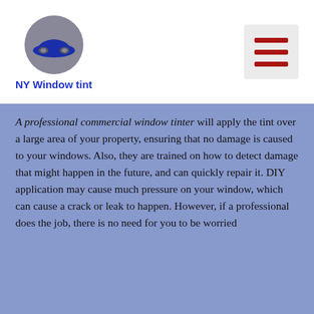[Figure (logo): NY Window Tint logo: gray circle with dark blue car silhouette, text 'NY Window tint' in blue below]
[Figure (other): Hamburger menu icon: three dark red horizontal bars on light gray rounded rectangle background]
A professional commercial window tinter will apply the tint over a large area of your property, ensuring that no damage is caused to your windows. Also, they are trained on how to detect damage that might happen in the future, and can quickly repair it. DIY application may cause much pressure on your window, which can cause a crack or leak to happen. However, if a professional does the job, there is no need for you to be worried